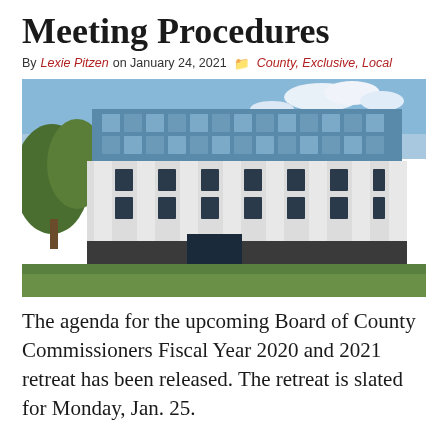Meeting Procedures
By Lexie Pitzen on January 24, 2021  County, Exclusive, Local
[Figure (photo): Exterior photo of a government building with glass facade on upper floors, white concrete columns, and a curved red brick pathway leading to the entrance, with green lawn and trees visible.]
The agenda for the upcoming Board of County Commissioners Fiscal Year 2020 and 2021 retreat has been released. The retreat is slated for Monday, Jan. 25.